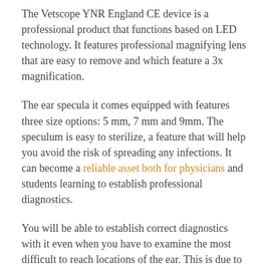The Vetscope YNR England CE device is a professional product that functions based on LED technology. It features professional magnifying lens that are easy to remove and which feature a 3x magnification.
The ear specula it comes equipped with features three size options: 5 mm, 7 mm and 9mm. The speculum is easy to sterilize, a feature that will help you avoid the risk of spreading any infections. It can become a reliable asset both for physicians and students learning to establish professional diagnostics.
You will be able to establish correct diagnostics with it even when you have to examine the most difficult to reach locations of the ear. This is due to the highly-performing light source it features...